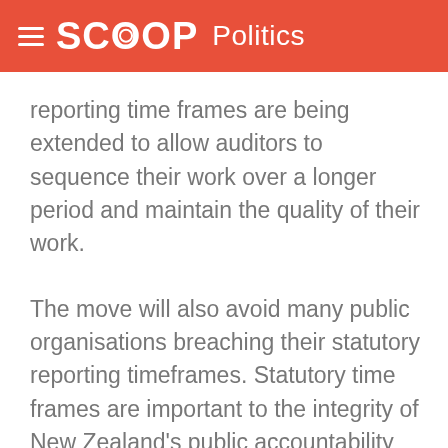SCOOP Politics
reporting time frames are being extended to allow auditors to sequence their work over a longer period and maintain the quality of their work.
The move will also avoid many public organisations breaching their statutory reporting timeframes. Statutory time frames are important to the integrity of New Zealand's public accountability system.